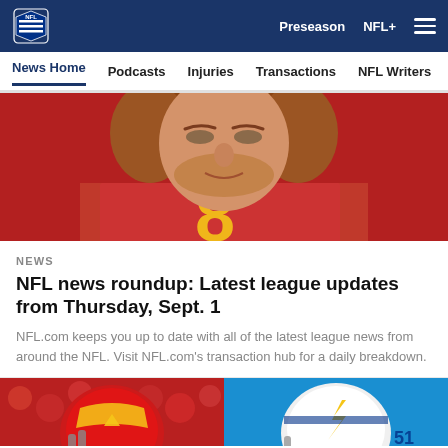NFL | News Home | Podcasts | Injuries | Transactions | NFL Writers
[Figure (photo): Close-up of NFL player in red Tampa Bay Buccaneers jersey]
NEWS
NFL news roundup: Latest league updates from Thursday, Sept. 1
NFL.com keeps you up to date with all of the latest league news from around the NFL. Visit NFL.com's transaction hub for a daily breakdown.
[Figure (photo): Two NFL football images: Kansas City Chiefs player in red helmet on left, LA Chargers player in white helmet on right]
[Figure (infographic): Social media share icons: Facebook, Twitter, Email, Copy link]